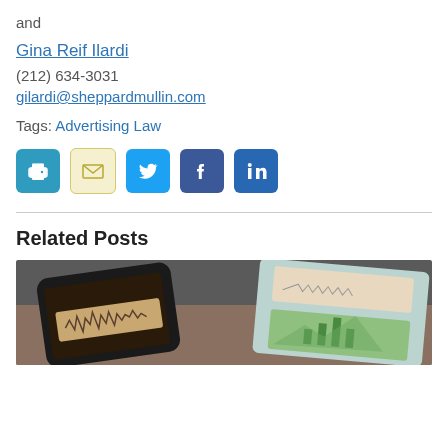and
Gina Reif Ilardi
(212) 634-3031
gilardi@sheppardmullin.com
Tags: Advertising Law
[Figure (infographic): Row of five social/action icon buttons: print (blue), email (pale yellow), Twitter (light blue), Facebook (dark blue), LinkedIn (blue)]
Related Posts
[Figure (photo): Photo of smartphones and tablet showing audio waveform and media content cards, top portion visible]